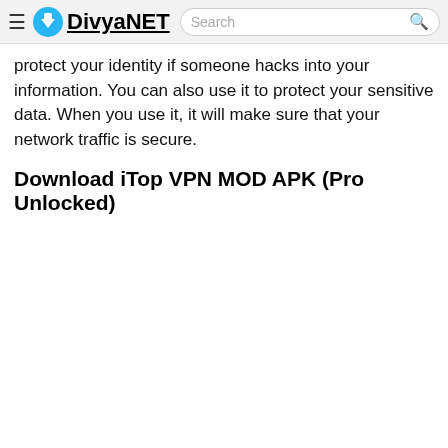≡ DivyaNET | Search 🔍
protect your identity if someone hacks into your information. You can also use it to protect your sensitive data. When you use it, it will make sure that your network traffic is secure.
Download iTop VPN MOD APK (Pro Unlocked)